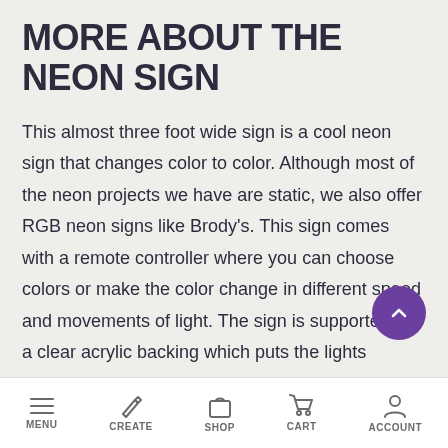MORE ABOUT THE NEON SIGN
This almost three foot wide sign is a cool neon sign that changes color to color. Although most of the neon projects we have are static, we also offer RGB neon signs like Brody's. This sign comes with a remote controller where you can choose colors or make the color change in different speed and movements of light. The sign is supported by a clear acrylic backing which puts the lights together easily.
MENU  CREATE  SHOP  CART  ACCOUNT